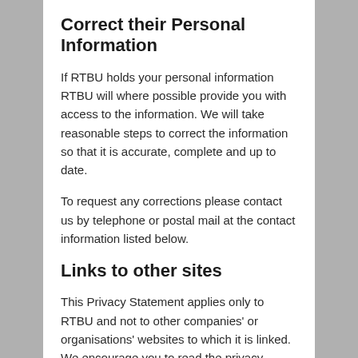Correct their Personal Information
If RTBU holds your personal information RTBU will where possible provide you with access to the information. We will take reasonable steps to correct the information so that it is accurate, complete and up to date.
To request any corrections please contact us by telephone or postal mail at the contact information listed below.
Links to other sites
This Privacy Statement applies only to RTBU and not to other companies' or organisations' websites to which it is linked. We encourage you to read the privacy statements of each and every Web site